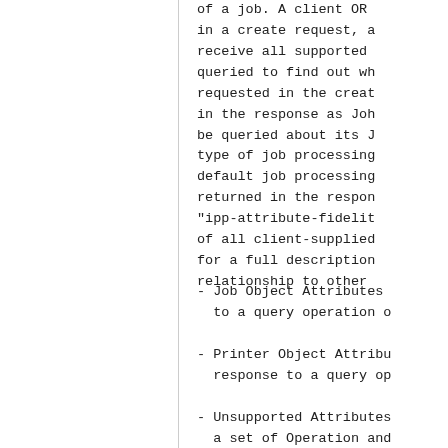of a job.  A client OR
in a create request, a
receive all supported
queried to find out wh
requested in the creat
in the response as Joh
be queried about its J
type of job processing
default job processing
returned in the respon
"ipp-attribute-fielit
of all client-supplied
for a full description
relationship to other
- Job Object Attributes
  to a query operation o
- Printer Object Attribu
  response to a query op
- Unsupported Attributes
  a set of Operation and